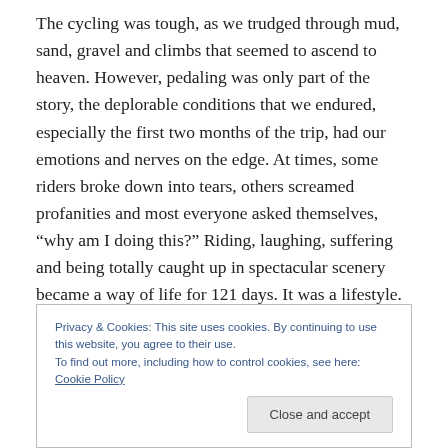The cycling was tough, as we trudged through mud, sand, gravel and climbs that seemed to ascend to heaven. However, pedaling was only part of the story, the deplorable conditions that we endured, especially the first two months of the trip, had our emotions and nerves on the edge. At times, some riders broke down into tears, others screamed profanities and most everyone asked themselves, “why am I doing this?” Riding, laughing, suffering and being totally caught up in spectacular scenery became a way of life for 121 days. It was a lifestyle.
Privacy & Cookies: This site uses cookies. By continuing to use this website, you agree to their use.
To find out more, including how to control cookies, see here: Cookie Policy